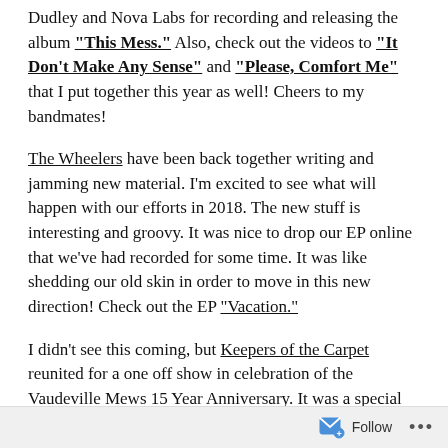Dudley and Nova Labs for recording and releasing the album "This Mess." Also, check out the videos to "It Don't Make Any Sense" and "Please, Comfort Me" that I put together this year as well! Cheers to my bandmates!
The Wheelers have been back together writing and jamming new material. I'm excited to see what will happen with our efforts in 2018. The new stuff is interesting and groovy. It was nice to drop our EP online that we've had recorded for some time. It was like shedding our old skin in order to move in this new direction! Check out the EP "Vacation."
I didn't see this coming, but Keepers of the Carpet reunited for a one off show in celebration of the Vaudeville Mews 15 Year Anniversary. It was a special day practicing and an awesome night rocking the Mews. I'll try to post some video links from the show online soon!
It looks like the plan is to get the new Volcano Boys EP out that we started a couple of years ago. Very much looking forward to getting
Follow